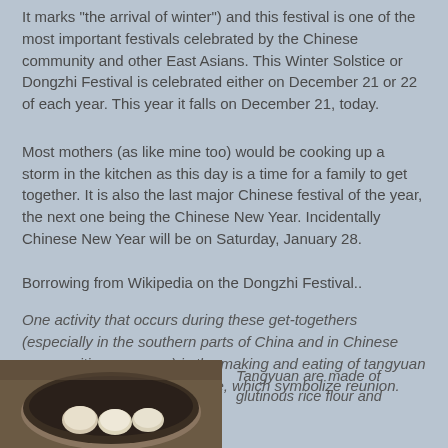It marks "the arrival of winter") and this festival is one of the most important festivals celebrated by the Chinese community and other East Asians. This Winter Solstice or Dongzhi Festival is celebrated either on December 21 or 22 of each year. This year it falls on December 21, today.
Most mothers (as like mine too) would be cooking up a storm in the kitchen as this day is a time for a family to get together. It is also the last major Chinese festival of the year, the next one being the Chinese New Year. Incidentally Chinese New Year will be on Saturday, January 28.
Borrowing from Wikipedia on the Dongzhi Festival..
One activity that occurs during these get-togethers (especially in the southern parts of China and in Chinese communities overseas) is the making and eating of tangyuan (汤圆) or balls of glutinous rice, which symbolize reunion.
[Figure (photo): A bowl containing tangyuan (glutinous rice balls)]
Tangyuan are made of glutinous rice flour and